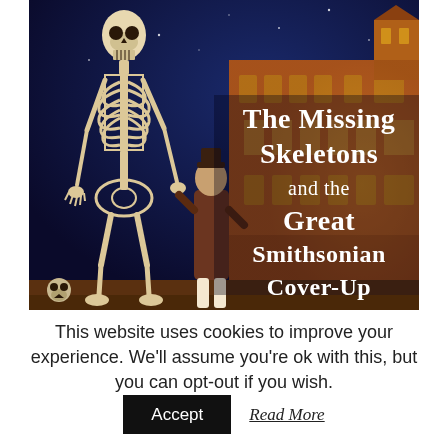[Figure (illustration): Book cover image showing a tall human skeleton on the left, a person in Victorian-era clothing in the center looking up, and the Smithsonian Institution Building (the Castle) in warm orange tones on the right against a dark blue night sky. Title text overlaid reads 'The Missing Skeletons and the Great Smithsonian Cover-Up'. A small skull icon is visible at the bottom left.]
This website uses cookies to improve your experience. We'll assume you're ok with this, but you can opt-out if you wish.
Accept   Read More